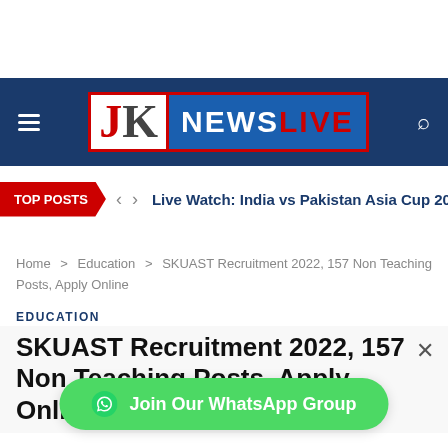[Figure (logo): JK News Live logo on dark blue navigation bar with hamburger menu and search icon]
TOP POSTS   <   >   Live Watch: India vs Pakistan Asia Cup 2022: Top 5 F
Home > Education > SKUAST Recruitment 2022, 157 Non Teaching Posts, Apply Online
EDUCATION
SKUAST Recruitment 2022, 157 Non Teaching Posts, Apply Online
Join Our WhatsApp Group